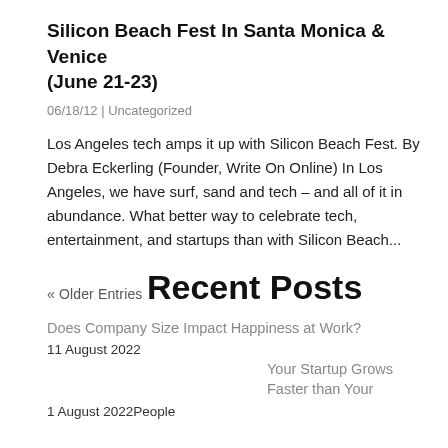Silicon Beach Fest In Santa Monica & Venice (June 21-23)
06/18/12 | Uncategorized
Los Angeles tech amps it up with Silicon Beach Fest. By Debra Eckerling (Founder, Write On Online) In Los Angeles, we have surf, sand and tech – and all of it in abundance. What better way to celebrate tech, entertainment, and startups than with Silicon Beach...
« Older Entries
Recent Posts
Does Company Size Impact Happiness at Work?
11 August 2022
Your Startup Grows Faster than Your
1 August 2022People